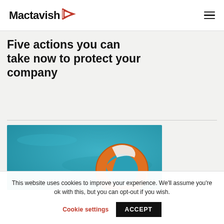Mactavish
Five actions you can take now to protect your company
[Figure (photo): Orange life preserver ring floating in turquoise water, viewed from above]
This website uses cookies to improve your experience. We'll assume you're ok with this, but you can opt-out if you wish.
Cookie settings | ACCEPT